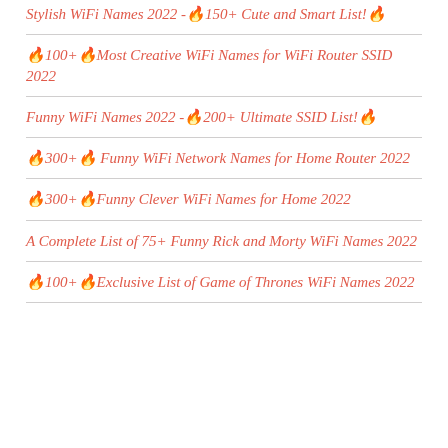Stylish WiFi Names 2022 -🔥150+ Cute and Smart List!🔥
🔥100+🔥Most Creative WiFi Names for WiFi Router SSID 2022
Funny WiFi Names 2022 -🔥200+ Ultimate SSID List!🔥
🔥300+🔥 Funny WiFi Network Names for Home Router 2022
🔥300+🔥Funny Clever WiFi Names for Home 2022
A Complete List of 75+ Funny Rick and Morty WiFi Names 2022
🔥100+🔥Exclusive List of Game of Thrones WiFi Names 2022